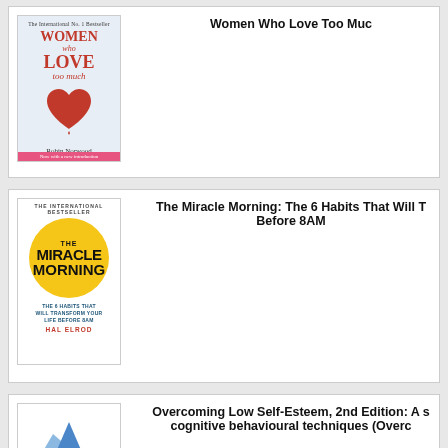[Figure (illustration): Book cover: Women Who Love Too Much by Robin Norwood. Light blue background with red heart illustration. Pink banner at bottom.]
Women Who Love Too Muc
[Figure (illustration): Book cover: The Miracle Morning by Hal Elrod. White background with large yellow circle containing title text.]
The Miracle Morning: The 6 Habits That Will T... Before 8AM
[Figure (illustration): Book cover: Overcoming Low Self-Esteem, 2nd Edition. Shows mountain/triangle shapes in blue.]
Overcoming Low Self-Esteem, 2nd Edition: A s... cognitive behavioural techniques (Overc...